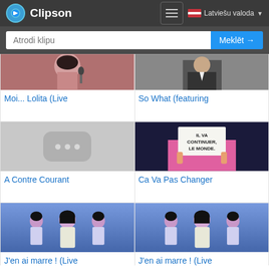Clipson — Latviešu valoda
Atrodi klipu
Meklēt →
[Figure (screenshot): Thumbnail of singer performing live — Moi... Lolita (Live]
Moi... Lolita (Live
[Figure (screenshot): Thumbnail of man in suit performing — So What (featuring]
So What (featuring
[Figure (screenshot): Gray placeholder thumbnail with three dots — A Contre Courant]
A Contre Courant
[Figure (screenshot): Thumbnail of person in pink holding sign 'IL VA CONTINUER LE MONDE.' — Ca Va Pas Changer]
Ca Va Pas Changer
[Figure (screenshot): Thumbnail of female singer in black hair with dancers — J'en ai marre ! (Live]
J'en ai marre ! (Live
[Figure (screenshot): Thumbnail of female singer in black hair with dancers — J'en ai marre ! (Live]
J'en ai marre ! (Live